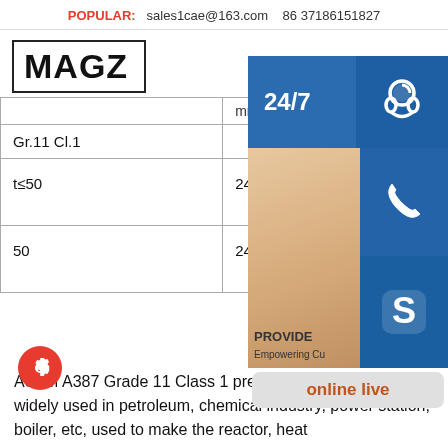POPULAR: sales1cae@163.com  86 37186151827
[Figure (logo): MAGZ logo in bold black text inside a rectangular border]
|  | mm | Mpa | M... |
| --- | --- | --- | --- |
| Gr.11 Cl.1 |  | Mpa |  |
| t≤50 | 240 | 415-585 | 22 |
| 50 | 240 | 415-585 | 19 |
[Figure (infographic): Customer service overlay panel with 24/7 badge, headset icon, phone icon, Skype icon, customer service agent photo, PROVIDE Empowering Cu... text, and online live button]
ASTM A387 Grade 11 Class 1 pressure vessel steel is widely used in petroleum, chemical industry, power station, boiler, etc, used to make the reactor, heat